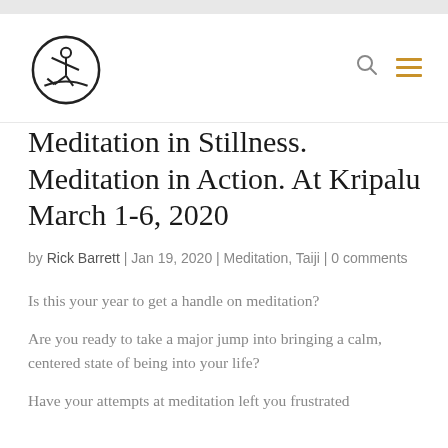Meditation in Stillness. Meditation in Action. At Kripalu March 1-6, 2020
by Rick Barrett | Jan 19, 2020 | Meditation, Taiji | 0 comments
Is this your year to get a handle on meditation?
Are you ready to take a major jump into bringing a calm, centered state of being into your life?
Have your attempts at meditation left you frustrated